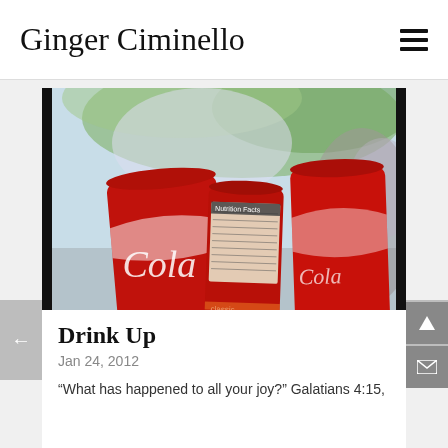Ginger Ciminello
[Figure (photo): Close-up photo of two red Coca-Cola classic cans with a blurred background showing green foliage and a person.]
Drink Up
Jan 24, 2012
“What has happened to all your joy?” Galatians 4:15,